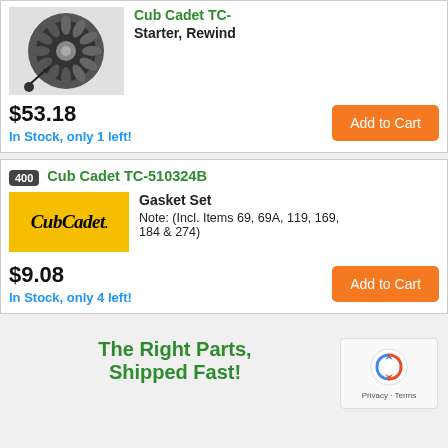[Figure (photo): Rewind starter part image with partial green product title at top]
Starter, Rewind
$53.18
In Stock, only 1 left!
Add to Cart
400
Cub Cadet TC-510324B
[Figure (logo): Cub Cadet logo on yellow background]
Gasket Set
Note: (Incl. Items 69, 69A, 119, 169, 184 & 274)
$9.08
In Stock, only 4 left!
Add to Cart
The Right Parts, Shipped Fast!